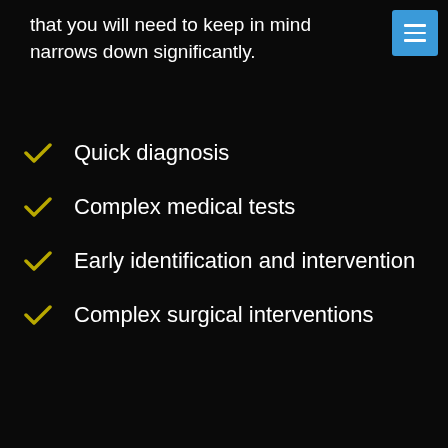that you will need to keep in mind narrows down significantly.
Quick diagnosis
Complex medical tests
Early identification and intervention
Complex surgical interventions